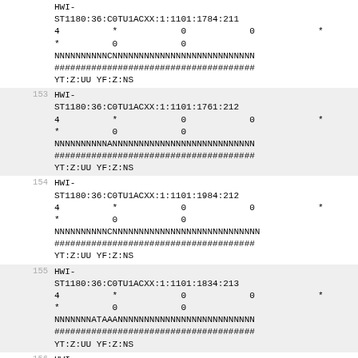HWI-ST1180:36:C0TU1ACXX:1:1101:1784:211
4	*	0	0	*
*	0	0
NNNNNNNNNCNNNNNNNNNNNNNNNNNNNNNNNNNNN
#####################################
YT:Z:UU YF:Z:NS
153 HWI-ST1180:36:C0TU1ACXX:1:1101:1761:212
4	*	0	0	*
*	0	0
NNNNNNNNNANNNNNNNNNNNNNNNNNNNNNNNNNN
#####################################
YT:Z:UU YF:Z:NS
154 HWI-ST1180:36:C0TU1ACXX:1:1101:1984:212
4	*	0	0	*
*	0	0
NNNNNNNNNCCNNNNNNNNNNNNNNNNNNNNNNNNN
#####################################
YT:Z:UU YF:Z:NS
155 HWI-ST1180:36:C0TU1ACXX:1:1101:1834:213
4	*	0	0	*
*	0	0
NNNNNNNATAAANNNNNNNNNNNNNNNNNNNNNNNN
#####################################
YT:Z:UU YF:Z:NS
156 HWI-ST1180:36:C0TU1ACXX:1:1101:1946:213
4	*	0	0	*
*	0	0